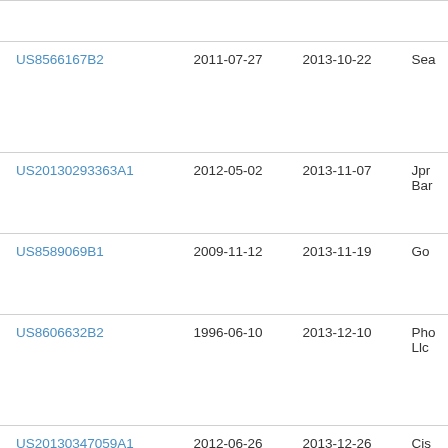| Patent Number | Filed | Published | Assignee |
| --- | --- | --- | --- |
| US8566167B2 | 2011-07-27 | 2013-10-22 | Sea |
| US20130293363A1 | 2012-05-02 | 2013-11-07 | Jpr
Bar |
| US8589069B1 | 2009-11-12 | 2013-11-19 | Go |
| US8606632B2 | 1996-06-10 | 2013-12-10 | Pho
Llc |
| US20130347059A1 | 2012-06-26 | 2013-12-26 | Cis
Inc |
| US8626618B2 | 2007-11-14 | 2014-01-07 | Par |